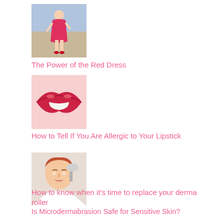[Figure (photo): Woman in red dress standing on street]
The Power of the Red Dress
[Figure (photo): Close-up of red lips with lipstick]
How to Tell If You Are Allergic to Your Lipstick
[Figure (photo): Woman receiving facial skin treatment]
Is Microdermabrasion Safe for Sensitive Skin?
How to know when it’s time to replace your derma roller